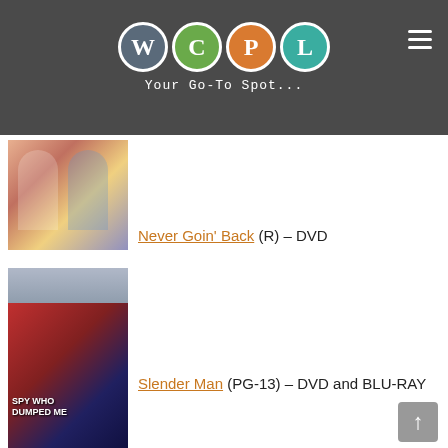WCPL — Your Go-To Spot...
[Figure (photo): Movie poster thumbnail for Never Goin' Back — two young women]
Never Goin' Back (R) – DVD
[Figure (photo): Movie poster thumbnail for Slender Man — tall shadowy figure in fog]
Slender Man (PG-13) – DVD and BLU-RAY
[Figure (photo): Movie poster thumbnail for Spy Who Dumped Me — action comedy with two women]